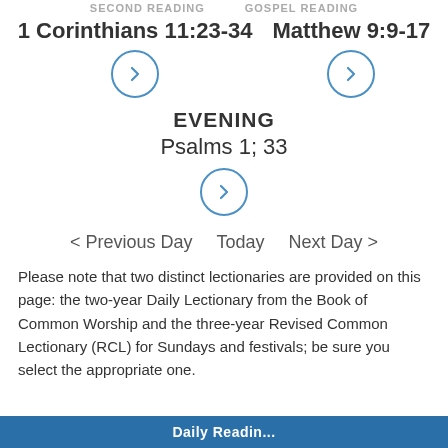SECOND READING   GOSPEL READING
1 Corinthians 11:23-34  Matthew 9:9-17
EVENING
Psalms 1; 33
< Previous Day   Today   Next Day >
Please note that two distinct lectionaries are provided on this page: the two-year Daily Lectionary from the Book of Common Worship and the three-year Revised Common Lectionary (RCL) for Sundays and festivals; be sure you select the appropriate one.
Daily Readin...